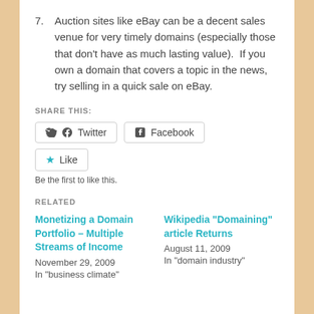7. Auction sites like eBay can be a decent sales venue for very timely domains (especially those that don't have as much lasting value).  If you own a domain that covers a topic in the news, try selling in a quick sale on eBay.
SHARE THIS:
Twitter  Facebook  Like  Be the first to like this.
RELATED
Monetizing a Domain Portfolio – Multiple Streams of Income
November 29, 2009
In "business climate"
Wikipedia "Domaining" article Returns
August 11, 2009
In "domain industry"